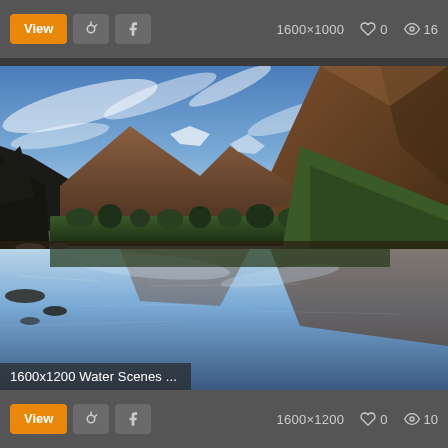View | Pinterest | Facebook | 1600×1000 ♡ 0 👁 16
[Figure (photo): Mountain lake landscape with reflections of mountains and sky. Label overlay reads: 1600x1200 Water Scenes ...]
1600x1200 Water Scenes ...
View | Pinterest | Facebook | 1600×1200 ♡ 0 👁 10